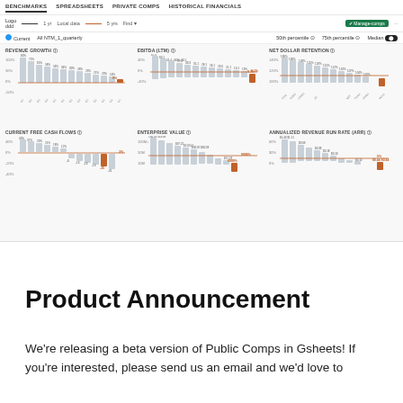[Figure (screenshot): Screenshot of Public Comps benchmarks dashboard showing 6 charts: Revenue Growth, EBITDA (LTM), Net Dollar Retention, Current Free Cash Flows, Enterprise Value, and Annualized Revenue Run Rate (ARR). Each chart is a bar chart with an orange median line, comparing a highlighted company (orange bar) against peers (gray bars).]
Product Announcement
We're releasing a beta version of Public Comps in Gsheets! If you're interested, please send us an email and we'd love to